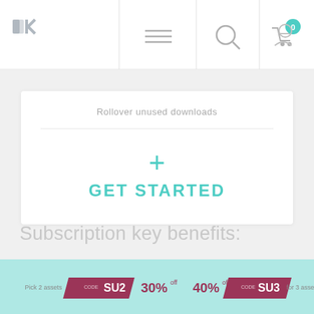[Figure (screenshot): Website navigation bar with logo (dk), hamburger menu icon, search icon, cart icon with badge showing 0, and user profile icon]
Rollover unused downloads
+ GET STARTED
Subscription key benefits:
[Figure (infographic): Bottom promotional banner on teal/mint background showing: 'Pick 2 assets' label, dark red badge with code SU2, 30% OFF, 40% OFF, dark red badge with code SU3, 'for 3 assets' label]